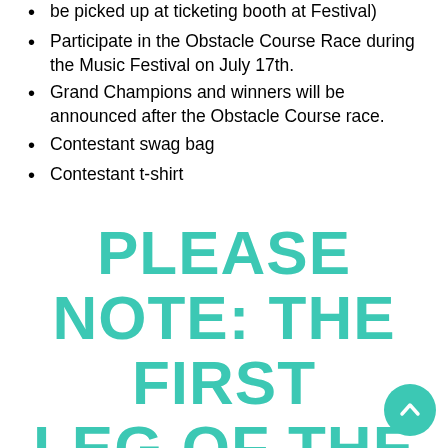be picked up at ticketing booth at Festival)
Participate in the Obstacle Course Race during the Music Festival on July 17th.
Grand Champions and winners will be announced after the Obstacle Course race.
Contestant swag bag
Contestant t-shirt
PLEASE NOTE: THE FIRST LEG OF THE SURF CONTEST DOES NOT TAKE PLACE DURING THE SURF RODEO MUSIC FESTIVAL.